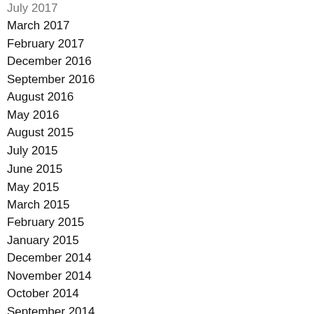July 2017
March 2017
February 2017
December 2016
September 2016
August 2016
May 2016
August 2015
July 2015
June 2015
May 2015
March 2015
February 2015
January 2015
December 2014
November 2014
October 2014
September 2014
August 2014
July 2014
June 2014